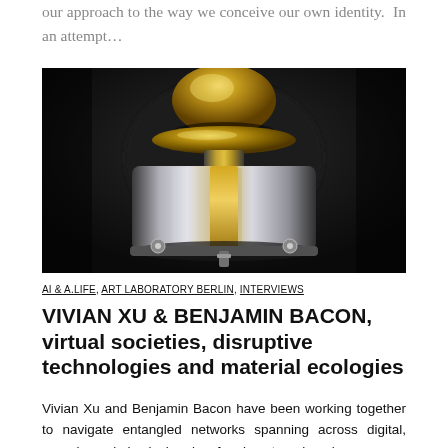our approach to the way we conceive our own identity.  In an attempt…
[Figure (photo): Close-up photograph of a polished gold and silver metallic object against a dark background, showing a dome-shaped top with a cylindrical body and metal fittings.]
AI & A.LIFE, ART LABORATORY BERLIN, INTERVIEWS
VIVIAN XU & BENJAMIN BACON, virtual societies, disruptive technologies and material ecologies
Vivian Xu and Benjamin Bacon have been working together to navigate entangled networks spanning across digital, organic, and physical realms for close to a decade....